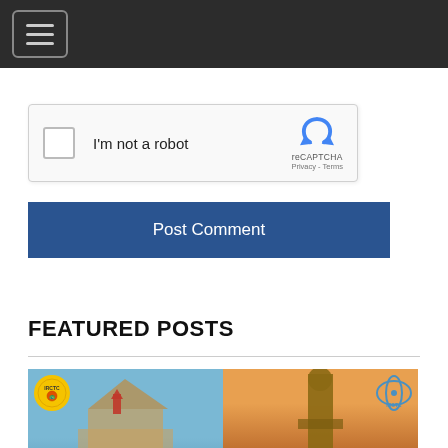Navigation bar with hamburger menu
[Figure (screenshot): reCAPTCHA widget with checkbox labeled 'I'm not a robot' and reCAPTCHA logo with Privacy - Terms links]
Post Comment
FEATURED POSTS
[Figure (photo): Two featured post thumbnail images: left shows a temple with blue sky and IRCTC logo, right shows a statue at dusk with IRCTC logo]